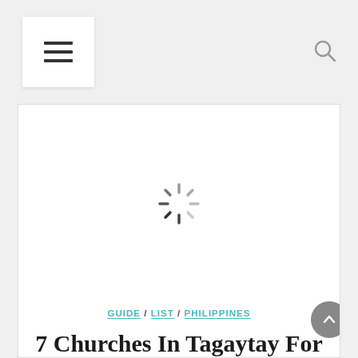[Figure (screenshot): Website navigation bar with hamburger menu icon on the left and search icon on the right, on a light grey background]
[Figure (other): White content card with a loading spinner (radial dashes in grey/black) centered in the image placeholder area]
GUIDE / LIST / PHILIPPINES
7 Churches In Tagaytay For Your Visita Iglesia